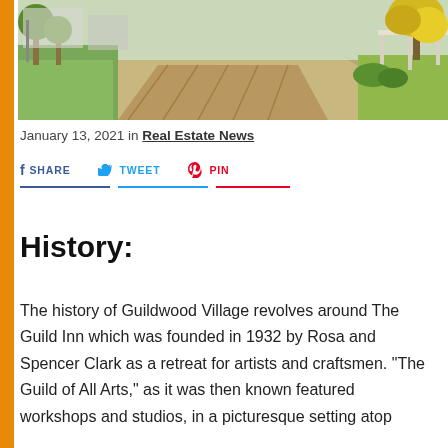[Figure (photo): Street scene showing a paved intersection with decorative brick-patterned crosswalk, green lawns, trees including one with bright yellow/golden foliage on the right, and buildings in the background, likely in Guildwood Village.]
January 13, 2021 in Real Estate News
SHARE   TWEET   PIN
History:
The history of Guildwood Village revolves around The Guild Inn which was founded in 1932 by Rosa and Spencer Clark as a retreat for artists and craftsmen. "The Guild of All Arts," as it was then known featured workshops and studios, in a picturesque setting atop